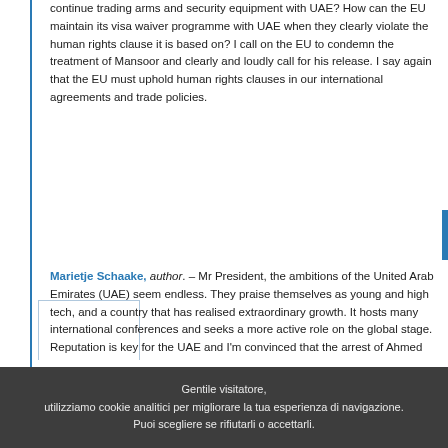continue trading arms and security equipment with UAE? How can the EU maintain its visa waiver programme with UAE when they clearly violate the human rights clause it is based on? I call on the EU to condemn the treatment of Mansoor and clearly and loudly call for his release. I say again that the EU must uphold human rights clauses in our international agreements and trade policies.
Marietje Schaake, author. – Mr President, the ambitions of the United Arab Emirates (UAE) seem endless. They praise themselves as young and high tech, and a country that has realised extraordinary growth. It hosts many international conferences and seeks a more active role on the global stage. Reputation is key for the UAE and I'm convinced that the arrest of Ahmed Mansoor, over tweets he sent, and the way he has been treated since, have not helped at all in this respect.
But of course we're not here to give the UAE any PR advice. We are here to condemn human rights violations when they occur. Mr Mansoor has been recognised as a courageous human rights defender. He was the winner of the Martin Ennals Award and served as an adviser to Human Rights Watch. He is now in solitary confinement in
Gentile visitatore,
utilizziamo cookie analitici per migliorare la tua esperienza di navigazione.
Puoi scegliere se rifiutarli o accettarli.